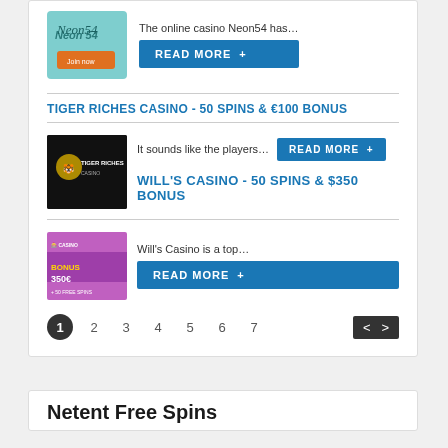[Figure (screenshot): Neon54 casino logo/banner image - teal background with orange button]
The online casino Neon54 has…
READ MORE +
TIGER RICHES CASINO - 50 SPINS & €100 BONUS
[Figure (screenshot): Tiger Riches Casino logo on black background]
It sounds like the players…
READ MORE +
WILL'S CASINO - 50 SPINS & $350 BONUS
[Figure (screenshot): Will's Casino banner with purple/pink background and bonus text]
Will's Casino is a top…
READ MORE +
1  2  3  4  5  6  7
Netent Free Spins